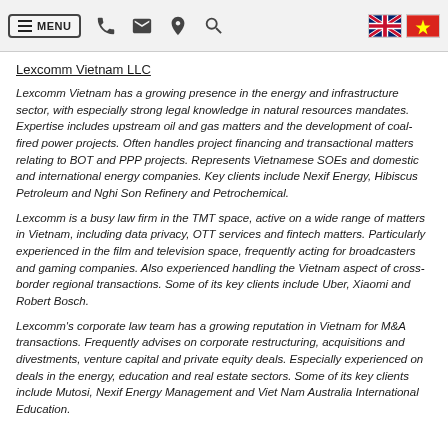MENU [navigation bar with phone, email, location, search icons and UK/Vietnam flags]
Lexcomm Vietnam LLC
Lexcomm Vietnam has a growing presence in the energy and infrastructure sector, with especially strong legal knowledge in natural resources mandates. Expertise includes upstream oil and gas matters and the development of coal-fired power projects. Often handles project financing and transactional matters relating to BOT and PPP projects. Represents Vietnamese SOEs and domestic and international energy companies. Key clients include Nexif Energy, Hibiscus Petroleum and Nghi Son Refinery and Petrochemical.
Lexcomm is a busy law firm in the TMT space, active on a wide range of matters in Vietnam, including data privacy, OTT services and fintech matters. Particularly experienced in the film and television space, frequently acting for broadcasters and gaming companies. Also experienced handling the Vietnam aspect of cross-border regional transactions. Some of its key clients include Uber, Xiaomi and Robert Bosch.
Lexcomm's corporate law team has a growing reputation in Vietnam for M&A transactions. Frequently advises on corporate restructuring, acquisitions and divestments, venture capital and private equity deals. Especially experienced on deals in the energy, education and real estate sectors. Some of its key clients include Mutosi, Nexif Energy Management and Viet Nam Australia International Education.